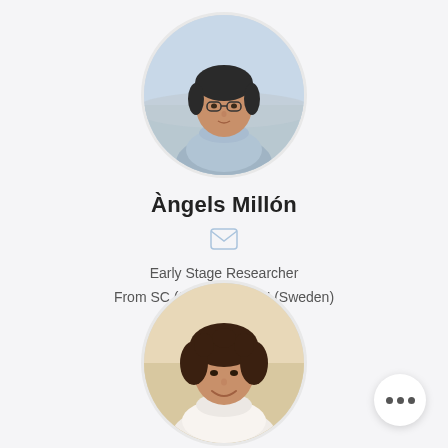[Figure (photo): Circular portrait photo of Àngels Millón, a woman wearing glasses and a light blue scarf/jacket, with arid landscape background]
Àngels Millón
[Figure (other): Email/envelope icon]
Early Stage Researcher
From SC (Spain) to UMU (Sweden)
[Figure (photo): Circular portrait photo of Beatriz Muriel, a woman with curly hair smiling, with bright outdoor background]
Beatriz Muriel